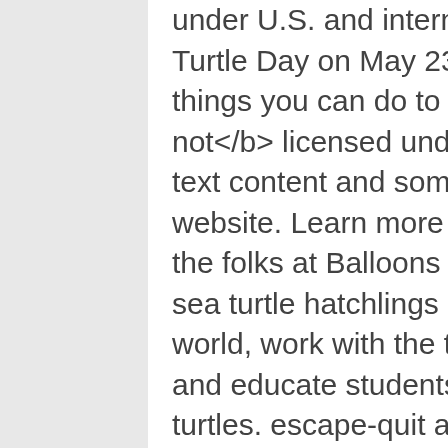under U.S. and international copyright laws. ! In honor of World Turtle Day on May 23, it's the perfect time to be reminded of all the things you can do to help protect these creatures. This image is not</b> licensed under the Creative Commons license applied to text content and some other images posted to the wikiHow website. Learn more about reducing pollution from balloons from the folks at Balloons Blow. Our award-winning programs help save sea turtle hatchlings on important nesting beaches around the world, work with the tourism industry to end the turtleshell trade, and educate students and travelers about how to help save sea turtles. escape-quit application. Save-A-Turtle of the Florida Keys, Inc. plans to partner with other like-minded organizations for joint fundraising efforts, as well as continue our presence at all local and grassroots festivals, events, and celebrations to show our presence in the Keys, and excite people young and old about imperiled sea turtles. Retro Style Turtle T-Shirt. AONED Sea Turtle Bracelet For Women Girls Sterling Silver Save Turtles Charm Bracelets Blue Birthstone Ocean Jewelry Gifts. wikiHow, Inc. is the copyright holder of this image under U.S. and